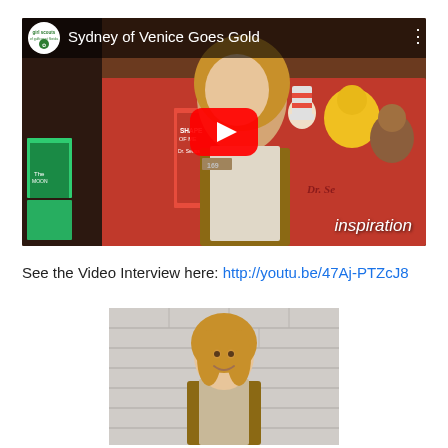[Figure (screenshot): YouTube video thumbnail showing a girl in a Girl Scouts vest surrounded by stuffed animals and Dr. Seuss books, with a red YouTube play button overlay. Title reads 'Sydney of Venice Goes Gold'. Bottom right shows the word 'inspiration'. Top left shows Girl Scouts of Gulf Coast Florida logo.]
See the Video Interview here: http://youtu.be/47Aj-PTZcJ8
[Figure (photo): Portrait photo of a teenage girl with blonde hair, smiling, wearing a Girl Scouts vest, photographed against a light brick/tile wall.]